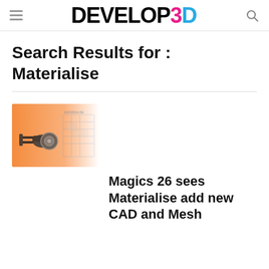DEVELOP3D
Search Results for : Materialise
[Figure (illustration): Thumbnail image with orange background showing a robotic arm / mechanical part and CAD blueprint lines, representing a Materialise Magics article thumbnail]
Magics 26 sees Materialise add new CAD and Mesh